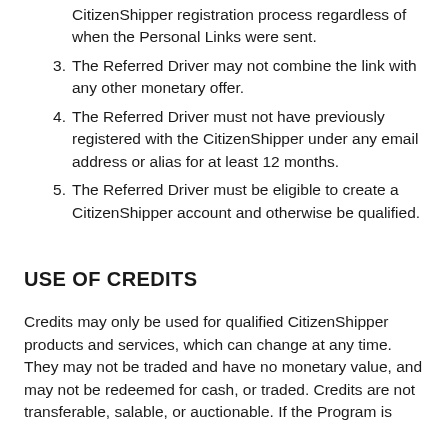CitizenShipper registration process regardless of when the Personal Links were sent.
3. The Referred Driver may not combine the link with any other monetary offer.
4. The Referred Driver must not have previously registered with the CitizenShipper under any email address or alias for at least 12 months.
5. The Referred Driver must be eligible to create a CitizenShipper account and otherwise be qualified.
USE OF CREDITS
Credits may only be used for qualified CitizenShipper products and services, which can change at any time. They may not be traded and have no monetary value, and may not be redeemed for cash, or traded. Credits are not transferable, salable, or auctionable. If the Program is